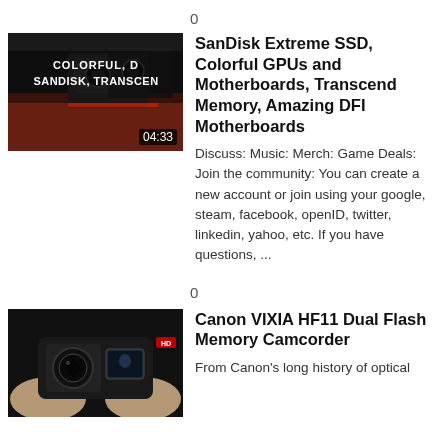0
[Figure (screenshot): Thumbnail for a tech expo video showing graphics cards and hardware with overlay text 'COLORFUL, D SANDISK, TRANSCEND' and duration badge '04:33']
SanDisk Extreme SSD, Colorful GPUs and Motherboards, Transcend Memory, Amazing DFI Motherboards
Discuss: Music: Merch: Game Deals: Join the community: You can create a new account or join using your google, steam, facebook, openID, twitter, linkedin, yahoo, etc. If you have questions, ...
0
[Figure (screenshot): Thumbnail showing hands holding a Canon VIXIA HF11 camcorder with an HD badge visible]
Canon VIXIA HF11 Dual Flash Memory Camcorder
From Canon's long history of optical